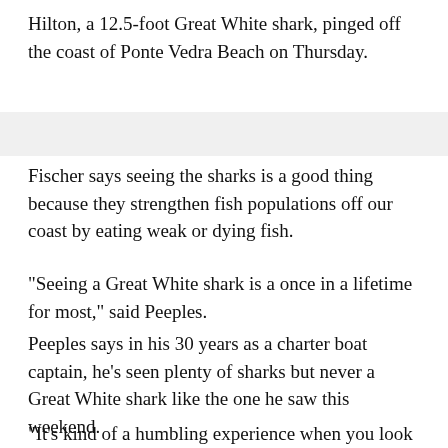Hilton, a 12.5-foot Great White shark, pinged off the coast of Ponte Vedra Beach on Thursday.
Fischer says seeing the sharks is a good thing because they strengthen fish populations off our coast by eating weak or dying fish.
"Seeing a Great White shark is a once in a lifetime for most," said Peeples.
Peeples says in his 30 years as a charter boat captain, he's seen plenty of sharks but never a Great White shark like the one he saw this weekend.
"It's kind of a humbling experience when you look